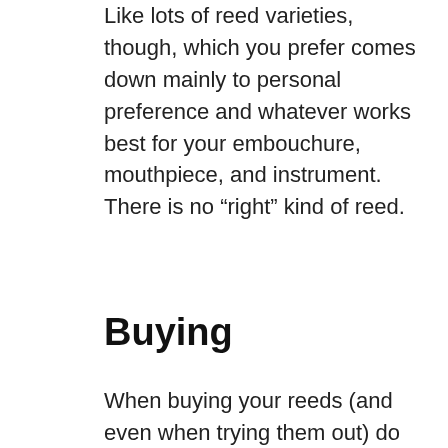Like lots of reed varieties, though, which you prefer comes down mainly to personal preference and whatever works best for your embouchure, mouthpiece, and instrument. There is no “right” kind of reed.
Buying
When buying your reeds (and even when trying them out) do yourself a favor, and buy your reeds in bulk.
Cane reeds are made of organic material, and tiny, almost imperceptible differences in the reed’s cut and grain can have considerable differences in how the reeds play and sound. It’s not uncommon to find somewhere